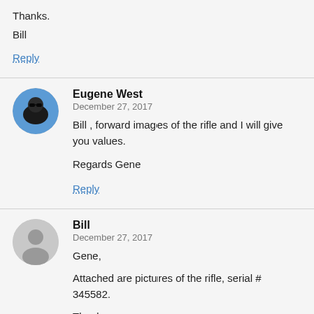Thanks.
Bill
Reply
Eugene West
December 27, 2017
Bill , forward images of the rifle and I will give you values.
Regards Gene
Reply
Bill
December 27, 2017
Gene,
Attached are pictures of the rifle, serial # 345582.
Thanks.